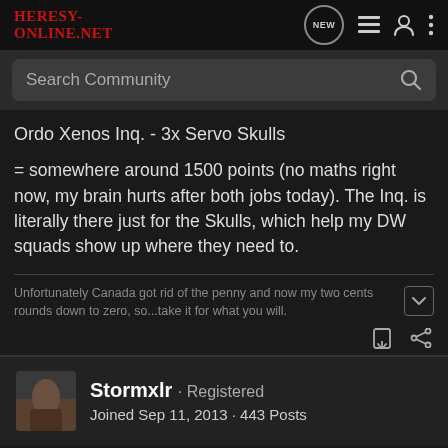HERESY-ONLINE.NET
Search Community
Ordo Xenos Inq. - 3x Servo Skulls
= somewhere around 1500 points (no maths right now, my brain hurts after both jobs today). The Inq. is literally there just for the Skulls, which help my DW squads show up where they need to.
Unfortunately Canada got rid of the penny and now my two cents rounds down to zero, so...take it for what you will.
Stormxlr · Registered
Joined Sep 11, 2013 · 443 Posts